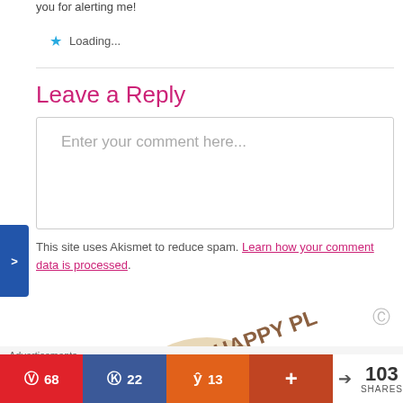you for alerting me!
Loading...
Leave a Reply
Enter your comment here...
This site uses Akismet to reduce spam. Learn how your comment data is processed.
[Figure (photo): Circular wooden object with text 'IS MY HAPPY PL...' embossed on it]
Advertisements
68 (Pinterest) | 22 (Facebook) | 13 (Yummly) | + | < 103 SHARES